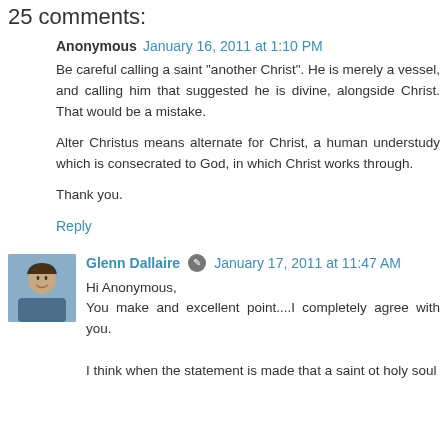25 comments:
Anonymous  January 16, 2011 at 1:10 PM
Be careful calling a saint "another Christ". He is merely a vessel, and calling him that suggested he is divine, alongside Christ. That would be a mistake.

Alter Christus means alternate for Christ, a human understudy which is consecrated to God, in which Christ works through.

Thank you.
Reply
Glenn Dallaire  January 17, 2011 at 11:47 AM
Hi Anonymous,
You make and excellent point....I completely agree with you.

I think when the statement is made that a saint ot holy soul